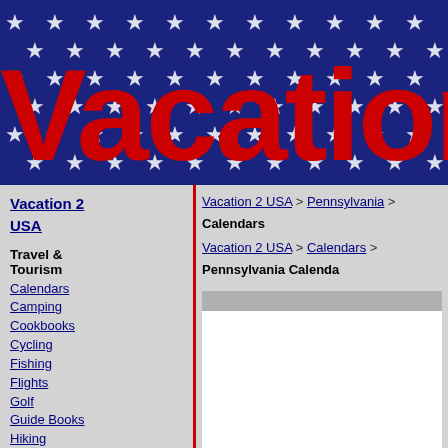[Figure (illustration): Vacation 2 USA website header banner with dark blue background, white stars pattern, red 'Vacation' text, white '2' text, and dark blue 'USA' text in large bold font]
Vacation 2 USA
Travel & Tourism
Calendars
Camping
Cookbooks
Cycling
Fishing
Flights
Golf
Guide Books
Hiking
History
Hotels
Luggage
Rental Cars
Skiing
Top Attractions
US Flag
Links
Vacation 2 USA > Pennsylvania > Calendars
Vacation 2 USA > Calendars > Pennsylvania Calendars